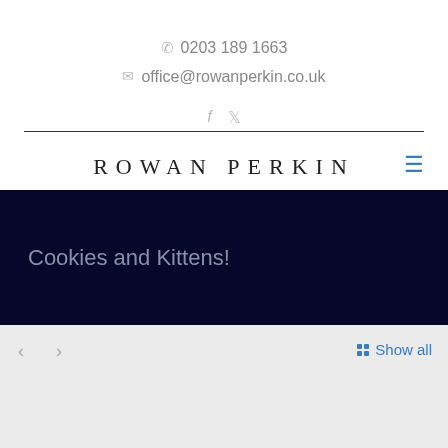0203 189 1663
office@rowanperkin.co.uk
ROWAN PERKIN
Cookies and Kittens!
Show all
Cookies and Kittens!